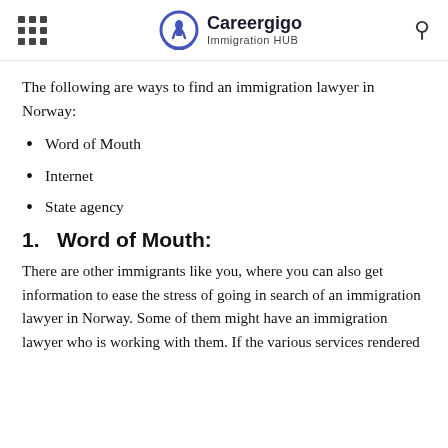Careergigo Immigration HUB
The following are ways to find an immigration lawyer in Norway:
Word of Mouth
Internet
State agency
1. Word of Mouth:
There are other immigrants like you, where you can also get information to ease the stress of going in search of an immigration lawyer in Norway. Some of them might have an immigration lawyer who is working with them. If the various services rendered